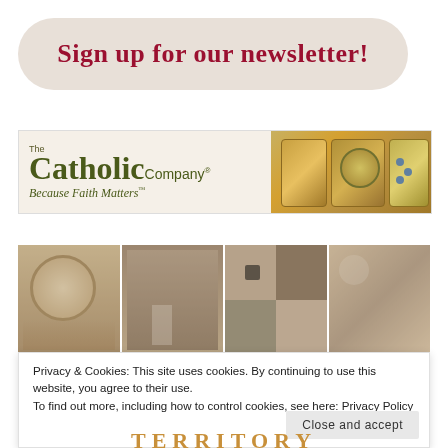Sign up for our newsletter!
[Figure (logo): The Catholic Company banner — 'The Catholic Company® Because Faith Matters™' with decorative jewelry image on right]
[Figure (photo): Sepia-toned photo strip collage with rosary beads, outdoor scene, person, and mixed imagery]
Privacy & Cookies: This site uses cookies. By continuing to use this website, you agree to their use.
To find out more, including how to control cookies, see here: Privacy Policy
Close and accept
TERRITORY